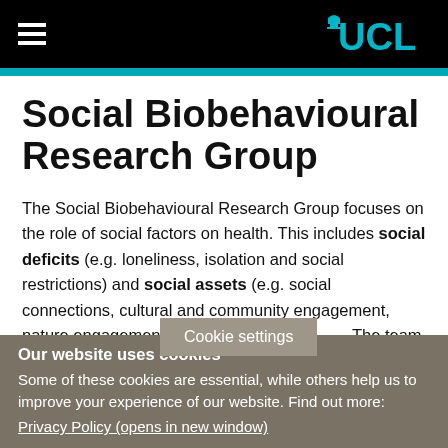UCL
Social Biobehavioural Research Group
The Social Biobehavioural Research Group focuses on the role of social factors on health. This includes social deficits (e.g. loneliness, isolation and social restrictions) and social assets (e.g. social connections, cultural and community engagement, nature engagement, and so… The team
Cookie settings
Our website uses cookies
Some of these cookies are essential, while others help us to improve your experience of our website. Find out more:
Privacy Policy (opens in new window)